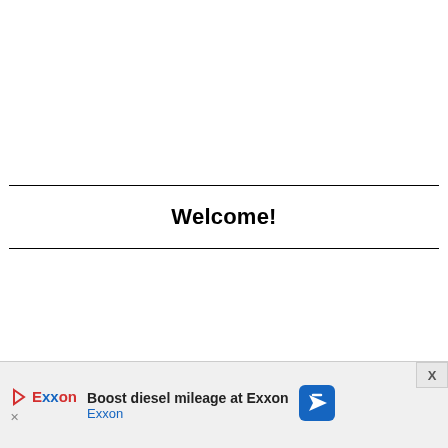Welcome!
[Figure (other): Advertisement banner at the bottom of the page showing Exxon branding with text 'Boost diesel mileage at Exxon' and 'Exxon', with a close button (X) in the top right corner and a blue navigation arrow icon on the right.]